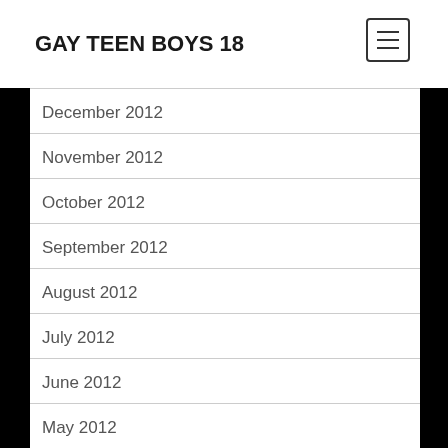GAY TEEN BOYS 18
December 2012
November 2012
October 2012
September 2012
August 2012
July 2012
June 2012
May 2012
April 2012
March 2012
February 2012